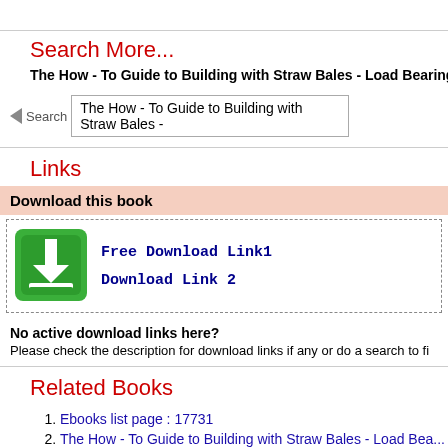Search More...
The How - To Guide to Building with Straw Bales - Load Bearing [rep
[Figure (screenshot): Search input bar with left-pointing triangle icon labeled 'Search' and text 'The How - To Guide to Building with Straw Bales -']
Links
Download this book
[Figure (infographic): Green download icon button with white downward arrow and tray symbol]
Free Download Link1
Download Link 2
No active download links here?
Please check the description for download links if any or do a search to fi
Related Books
Ebooks list page : 17731
The How - To Guide to Building with Straw Bales - Load Bea...